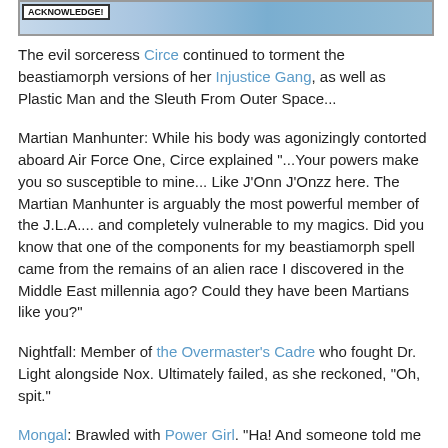[Figure (illustration): Comic book panel showing a character with speech bubble containing 'ACKNOWLEDGE!' visible on left side, with blue/red costumed figure on right side.]
The evil sorceress Circe continued to torment the beastiamorph versions of her Injustice Gang, as well as Plastic Man and the Sleuth From Outer Space...
Martian Manhunter: While his body was agonizingly contorted aboard Air Force One, Circe explained "...Your powers make you so susceptible to mine... Like J'Onn J'Onzz here. The Martian Manhunter is arguably the most powerful member of the J.L.A.... and completely vulnerable to my magics. Did you know that one of the components for my beastiamorph spell came from the remains of an alien race I discovered in the Middle East millennia ago? Could they have been Martians like you?"
Nightfall: Member of the Overmaster's Cadre who fought Dr. Light alongside Nox. Ultimately failed, as she reckoned, "Oh, spit."
Mongal: Brawled with Power Girl. "Ha! And someone told me they thought you were like the Kryptonian. Such ego... and